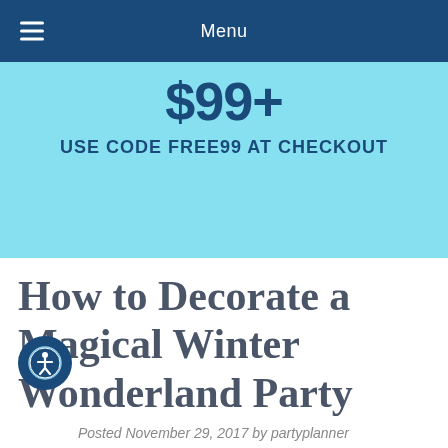Menu
[Figure (infographic): Promotional banner with light blue background showing price '$99+' and text 'USE CODE FREE99 AT CHECKOUT']
How to Decorate a Magical Winter Wonderland Party
Posted November 29, 2017 by partyplanner
Winter wonderland themes are nothing short of magical. Follow these tips to plan a perfect winter